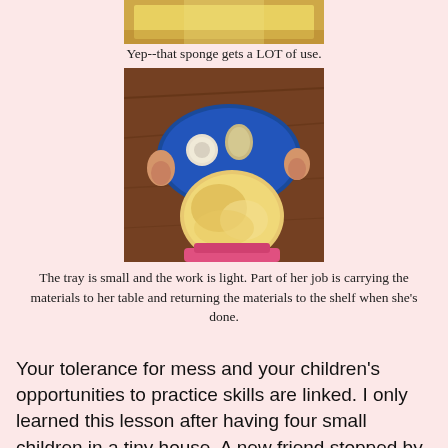[Figure (photo): Top portion of a photo showing a yellow tray, partially cropped at the top of the page]
Yep--that sponge gets a LOT of use.
[Figure (photo): A young blonde toddler seen from above, holding a blue tray with white and yellow bottles/cups on a wooden floor, wearing a pink outfit]
The tray is small and the work is light.  Part of her job is carrying the materials to her table and returning the materials to the shelf when she's done.
Your tolerance for mess and your children's opportunities to practice skills are linked.  I only learned this lesson after having four small children in a tiny house.  A new friend stopped by my house for the first time and exclaimed, "Your house is too clean to have four children!"  After a while I kind